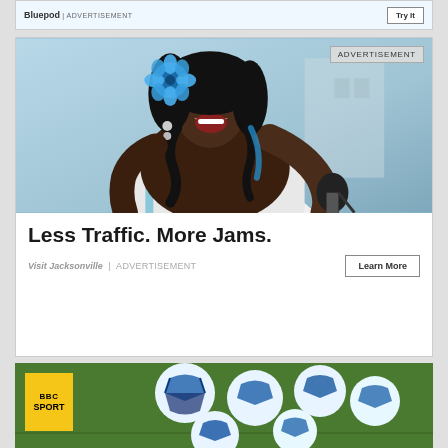[Figure (other): Top advertisement banner strip with brand name, ADVERTISEMENT label, and Try It button, partially visible at top of page]
[Figure (photo): Advertisement card for Visit Jacksonville featuring a Black woman with blue flower in hair, blue eye makeup, singing into a microphone, wearing a colorful dress. ADVERTISEMENT badge in top-right corner. Headline: Less Traffic. More Jams. with Learn More button.]
Less Traffic. More Jams.
Visit Jacksonville | ADVERTISEMENT
[Figure (photo): BBC Sport card partially visible at bottom, showing soccer/footballs on green background with yellow BBC SPORT logo box in top-left corner]